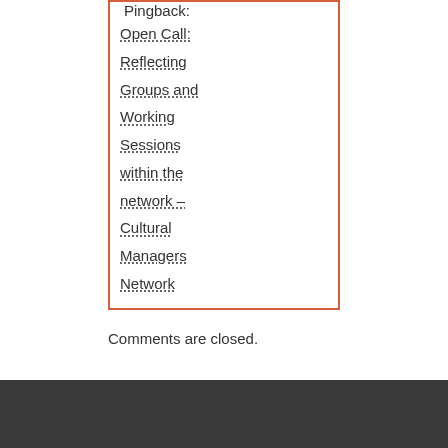Pingback: Open Call: Reflecting Groups and Working Sessions within the network – Cultural Managers Network
Comments are closed.